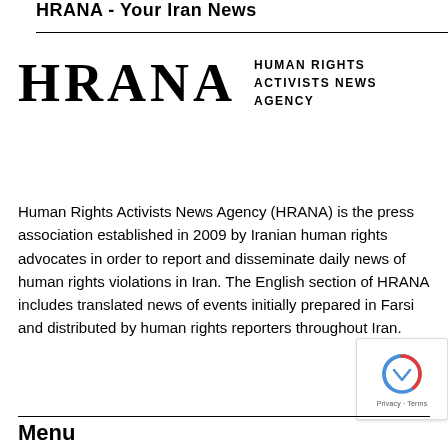HRANA - Your Iran News
[Figure (logo): HRANA logo with large stylized text 'HRANA' and subtitle 'HUMAN RIGHTS ACTIVISTS NEWS AGENCY']
Human Rights Activists News Agency (HRANA) is the press association established in 2009 by Iranian human rights advocates in order to report and disseminate daily news of human rights violations in Iran. The English section of HRANA includes translated news of events initially prepared in Farsi and distributed by human rights reporters throughout Iran.
Menu